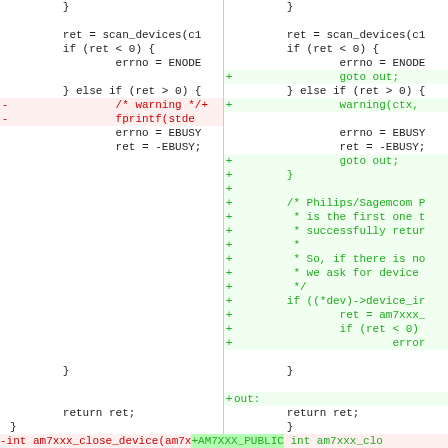[Figure (screenshot): Side-by-side code diff view showing deleted lines (red, left) and added lines (green, right) in C source code. Left column shows original code with minus markers for deleted lines. Right column shows new code with plus markers for added lines. Bottom bar shows a function signature diff line.]